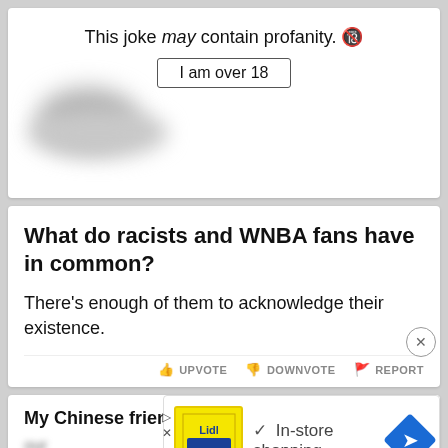[Figure (screenshot): Blurred joke content card with profanity warning overlay showing 'This joke may contain profanity.' and an 'I am over 18' button]
This joke may contain profanity. 🔞
I am over 18
What do racists and WNBA fans have in common?
There's enough of them to acknowledge their existence.
UPVOTE   DOWNVOTE   REPORT
My Chinese friend refuses to believe that
our
cha
Peop
[Figure (screenshot): Lidl advertisement banner with yellow logo, checkmark, 'In-store shopping' text, and blue diamond arrow button]